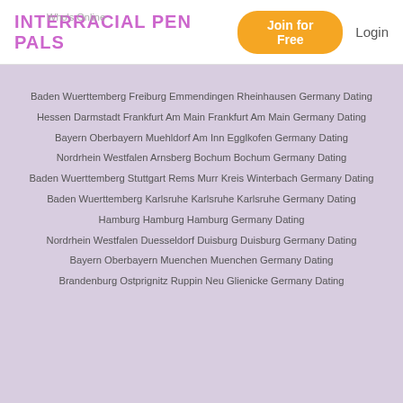INTERRACIAL PEN PALS | Who's Online | Join for Free | Login
Baden Wuerttemberg Freiburg Emmendingen Rheinhausen Germany Dating
Hessen Darmstadt Frankfurt Am Main Frankfurt Am Main Germany Dating
Bayern Oberbayern Muehldorf Am Inn Egglkofen Germany Dating
Nordrhein Westfalen Arnsberg Bochum Bochum Germany Dating
Baden Wuerttemberg Stuttgart Rems Murr Kreis Winterbach Germany Dating
Baden Wuerttemberg Karlsruhe Karlsruhe Karlsruhe Germany Dating
Hamburg Hamburg Hamburg Germany Dating
Nordrhein Westfalen Duesseldorf Duisburg Duisburg Germany Dating
Bayern Oberbayern Muenchen Muenchen Germany Dating
Brandenburg Ostprignitz Ruppin Neu Glienicke Germany Dating